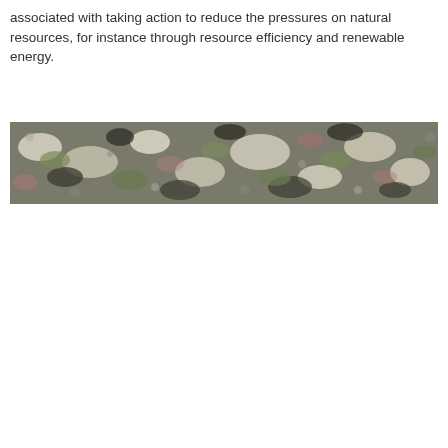associated with taking action to reduce the pressures on natural resources, for instance through resource efficiency and renewable energy.
[Figure (photo): A close-up photograph of lichen-covered rocks, showing a mottled texture of white, grey, green, and brown colours across a wide horizontal band.]